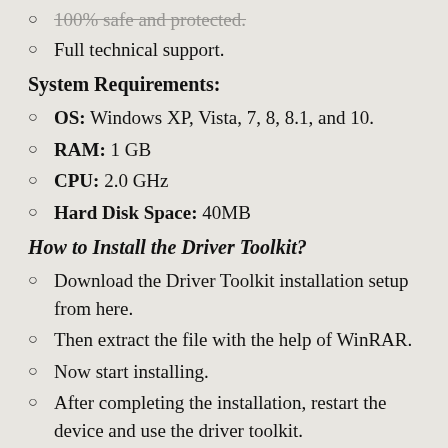100% safe and protected.
Full technical support.
System Requirements:
OS: Windows XP, Vista, 7, 8, 8.1, and 10.
RAM: 1 GB
CPU: 2.0 GHz
Hard Disk Space: 40MB
How to Install the Driver Toolkit?
Download the Driver Toolkit installation setup from here.
Then extract the file with the help of WinRAR.
Now start installing.
After completing the installation, restart the device and use the driver toolkit.